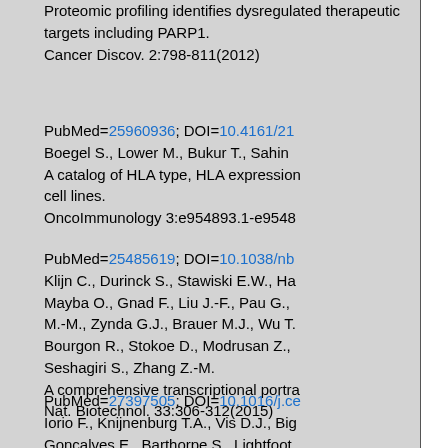Proteomic profiling identifies dysregulated therapeutic targets including PARP1. Cancer Discov. 2:798-811(2012)
PubMed=25960936; DOI=10.4161/21... Boegel S., Lower M., Bukur T., Sahin M... A catalog of HLA type, HLA expression... cell lines. OncoImmunology 3:e954893.1-e9548...
PubMed=25485619; DOI=10.1038/nb... Klijn C., Durinck S., Stawiski E.W., Ha... Mayba O., Gnad F., Liu J.-F., Pau G., ... M.-M., Zynda G.J., Brauer M.J., Wu T... Bourgon R., Stokoe D., Modrusan Z., ... Seshagiri S., Zhang Z.-M. A comprehensive transcriptional portr... Nat. Biotechnol. 33:306-312(2015)
PubMed=27397505; DOI=10.1016/j.ce... Iorio F., Knijnenburg T.A., Vis D.J., Big... Goncalves E., Barthorpe S., Lightfoot ... H., de Silva H., Heyn H., Deng X.-M., ... X., Richardson L., Wang J.-H., Zhang ... Tamborero D., Lopez-Bigas N., Ross-K... Stretter M.P. Barre C.H. We...